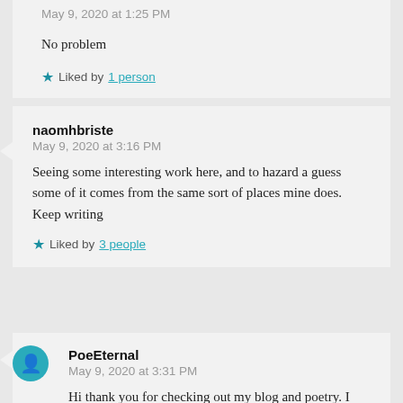May 9, 2020 at 1:25 PM
No problem
Liked by 1 person
naomhbriste
May 9, 2020 at 3:16 PM
Seeing some interesting work here, and to hazard a guess some of it comes from the same sort of places mine does. Keep writing
Liked by 3 people
PoeEternal
May 9, 2020 at 3:31 PM
Hi thank you for checking out my blog and poetry. I